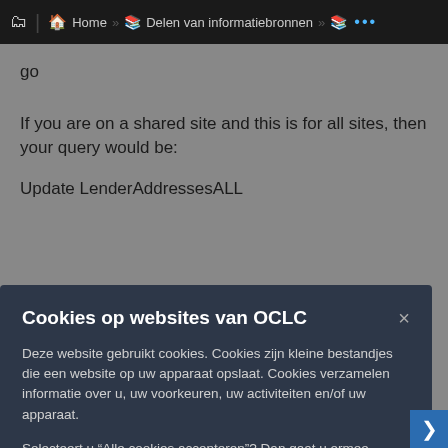Home » Delen van informatiebronnen »
go
If you are on a shared site and this is for all sites, then your query would be:
Update LenderAddressesALL
Cookies op websites van OCLC
Deze website gebruikt cookies. Cookies zijn kleine bestandjes die een website op uw apparaat opslaat. Cookies verzamelen informatie over u, uw voorkeuren, uw activiteiten en/of uw apparaat.
Selecteert u "Alle cookies accepteren"? Dan gaat u ermee akkoord dat alle cookies worden opgeslagen. Kiest u "Onnodige cookies weigeren"? Dan worden alleen noodzakelijke cookies opgeslagen. Het kan zijn dat de website daarna minder goed aansluit bij uw wensen. U kunt ook handmatig het gebruik van cookies instellen.